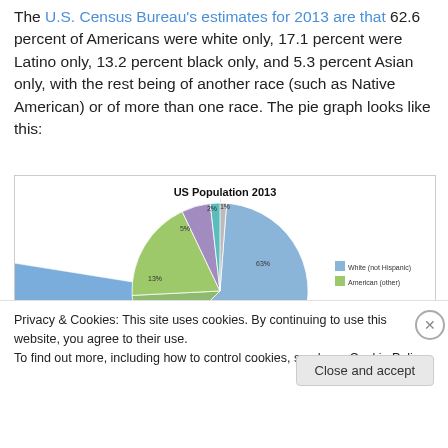The U.S. Census Bureau's estimates for 2013 are that 62.6 percent of Americans were white only, 17.1 percent were Latino only, 13.2 percent black only, and 5.3 percent Asian only, with the rest being of another race (such as Native American) or of more than one race. The pie graph looks like this:
[Figure (pie-chart): Pie chart showing US Population 2013 breakdown by race/ethnicity. Large blue slice ~63% (White not Hispanic), green slice ~13%, purple slice ~5%, teal slice ~2%, orange slice ~1%.]
Privacy & Cookies: This site uses cookies. By continuing to use this website, you agree to their use.
To find out more, including how to control cookies, see here: Cookie Policy